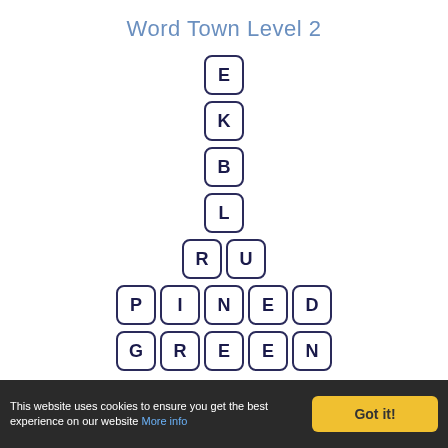Word Town Level 2
[Figure (other): Word puzzle crossword-style tile grid for Level 2. Letters E, K, B, L stacked vertically in center column; R, U in row below; P, I, N, E, D in next row; G, R, E, E, N in bottom row.]
Word Town Level 3
[Figure (other): Word puzzle crossword-style tile grid for Level 3. Letters E, B visible stacked vertically (partial).]
This website uses cookies to ensure you get the best experience on our website More info